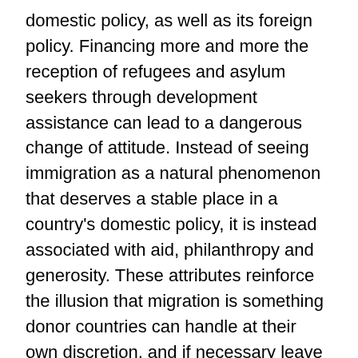domestic policy, as well as its foreign policy. Financing more and more the reception of refugees and asylum seekers through development assistance can lead to a dangerous change of attitude. Instead of seeing immigration as a natural phenomenon that deserves a stable place in a country's domestic policy, it is instead associated with aid, philanthropy and generosity. These attributes reinforce the illusion that migration is something donor countries can handle at their own discretion, and if necessary leave outside the door. Sweden's, and other EU countries' aid policies, contribute to this.
Peacekeeping troops, embassy costs, debt relief, refugee reception and ministers' salaries. Will this erosion of development aid raise voices for stricter regulations on what can and cannot be counted as development aid? Or will the trend of increasingly creative settlements continue? In any case, what we do know is